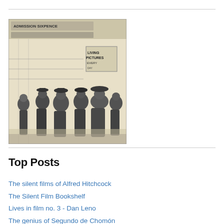[Figure (illustration): Black and white sketch/illustration of people gathered outside a cinema or picture hall entrance. A sign reads 'LIVING PICTURES' and another reads 'ADMISSION SIXPENCE'. Several figures in Victorian/Edwardian era dress are visible.]
Top Posts
The silent films of Alfred Hitchcock
The Silent Film Bookshelf
Lives in film no. 3 - Dan Leno
The genius of Segundo de Chomón
Talking silents